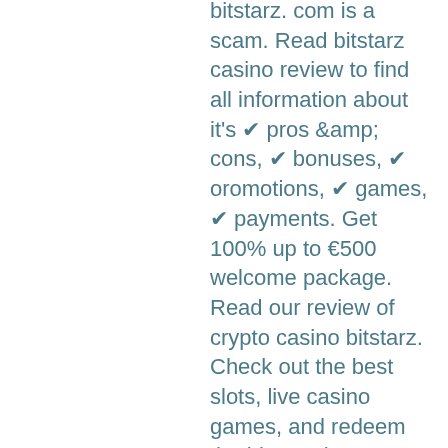bitstarz. com is a scam. Read bitstarz casino review to find all information about it's ✔ pros &amp; cons, ✔ bonuses, ✔ promotions, ✔ games, ✔ payments. Get 100% up to €500 welcome package. Read our review of crypto casino bitstarz. Check out the best slots, live casino games, and redeem the bitstarz bonus! Bitstarz casino bonuses, welcome offers and promotions · bitstarz slot tournaments and competitions · bitstarz casino slots and games. A review and test of the bitstarz casino, is it a safe place to bet? check out our review and find some great bonuses for bitstarz. Check out our casino review on bitstarz with over 600 bitcoin casino games to play on that are provably fair. See reviews, ratings, and latest bonuses! %
Also, gamers with GameCredits enjoy other benefits such as: MobileGo is an Ethereum based ERC20 token developed